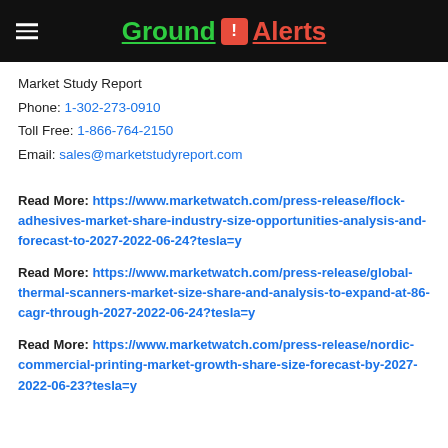Ground ! Alerts
Market Study Report
Phone: 1-302-273-0910
Toll Free: 1-866-764-2150
Email: sales@marketstudyreport.com
Read More: https://www.marketwatch.com/press-release/flock-adhesives-market-share-industry-size-opportunities-analysis-and-forecast-to-2027-2022-06-24?tesla=y
Read More: https://www.marketwatch.com/press-release/global-thermal-scanners-market-size-share-and-analysis-to-expand-at-86-cagr-through-2027-2022-06-24?tesla=y
Read More: https://www.marketwatch.com/press-release/nordic-commercial-printing-market-growth-share-size-forecast-by-2027-2022-06-23?tesla=y